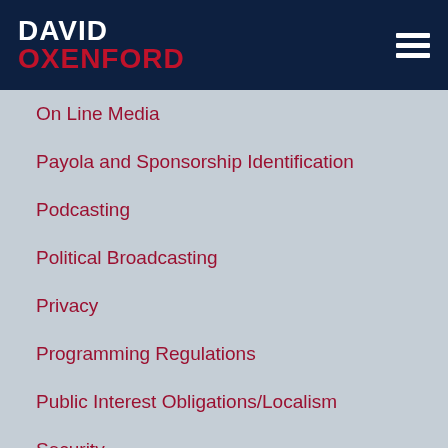DAVID OXENFORD
On Line Media
Payola and Sponsorship Identification
Podcasting
Political Broadcasting
Privacy
Programming Regulations
Public Interest Obligations/Localism
Security
Television
Tower Issues